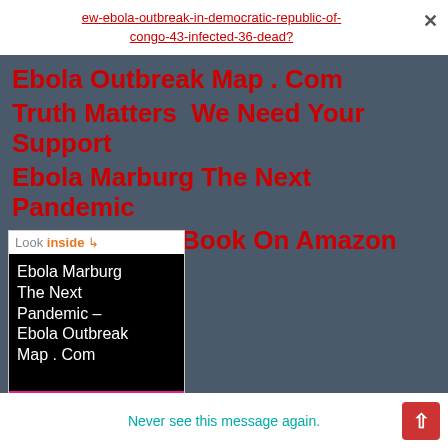ew-ebola-outbreak-in-democratic-republic-of-congo-43-infected-36-dead?
Ebola Outbreak Map . Com
Truth Matters  We Need Your Support
Ebola Marburg The Next Pandemic
Brand New E-Book On Amazon
[Figure (photo): Book cover for 'Ebola Marburg The Next Pandemic - Ebola Outbreak Map . Com' by Jacob Joseph, with a 'Look inside' button at top. Black cover with white text and pink author bar at bottom.]
Never see this message again.